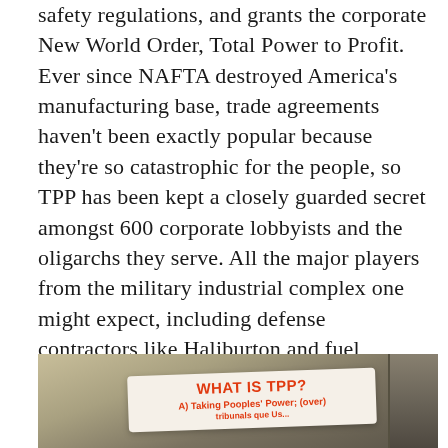safety regulations, and grants the corporate New World Order, Total Power to Profit. Ever since NAFTA destroyed America's manufacturing base, trade agreements haven't been exactly popular because they're so catastrophic for the people, so TPP has been kept a closely guarded secret amongst 600 corporate lobbyists and the oligarchs they serve. All the major players from the military industrial complex one might expect, including defense contractors like Haliburton and fuel corporations like Exxon, are involved in this slow-motion coup d'etat. Everything is negotiated and handled behind closed doors, written in confusing legalese, and all without so much as the possibility of oversight or transparency.
[Figure (photo): A photograph showing a sticker or flyer attached to what appears to be a metal rail or pole. The sticker reads 'WHAT IS TPP?' in bold orange text, followed by 'A) Taking Peoples' Power; (over) tribunals que...' in orange text. The background has a sepia/olive toned metallic surface.]